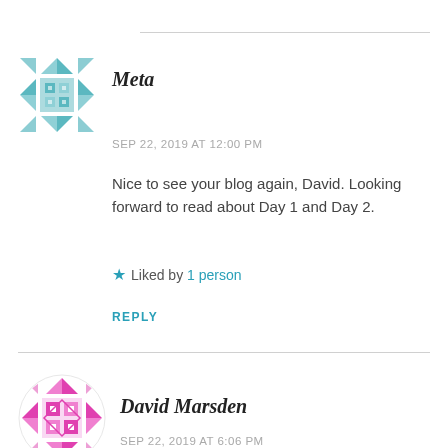[Figure (illustration): Teal geometric quilt-pattern avatar icon for user Meta]
Meta
SEP 22, 2019 AT 12:00 PM
Nice to see your blog again, David. Looking forward to read about Day 1 and Day 2.
★ Liked by 1 person
REPLY
[Figure (illustration): Pink/magenta geometric quilt-pattern circular avatar icon for user David Marsden]
David Marsden
SEP 22, 2019 AT 6:06 PM